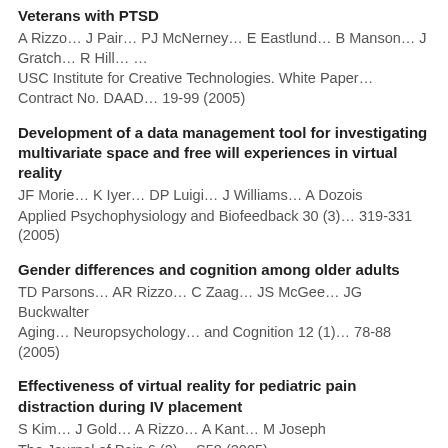Veterans with PTSD
A Rizzo… J Pair… PJ McNerney… E Eastlund… B Manson… J Gratch… R Hill… …
USC Institute for Creative Technologies. White Paper… Contract No. DAAD… 19-99 (2005)
Development of a data management tool for investigating multivariate space and free will experiences in virtual reality
JF Morie… K Iyer… DP Luigi… J Williams… A Dozois
Applied Psychophysiology and Biofeedback 30 (3)… 319-331 (2005)
Gender differences and cognition among older adults
TD Parsons… AR Rizzo… C Zaag… JS McGee… JG Buckwalter
Aging… Neuropsychology… and Cognition 12 (1)… 78-88 (2005)
Effectiveness of virtual reality for pediatric pain distraction during IV placement
S Kim… J Gold… A Rizzo… A Kant… M Joseph
The Journal of Pain 6 (3)… S58 (2005)